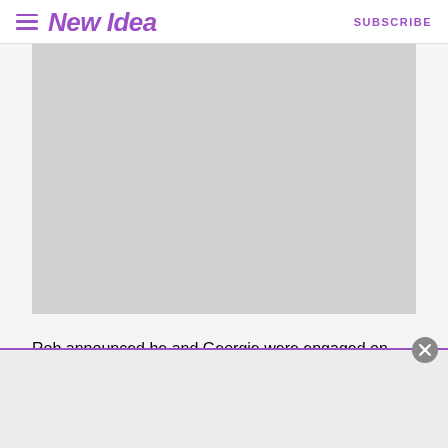New Idea | SUBSCRIBE
[Figure (photo): Large grey placeholder image area for a photo]
Rob announced he and Georgie were engaged on New Year's Eve 2021.
[Figure (other): Advertisement overlay with purple top border and close (x) button in the upper right corner]